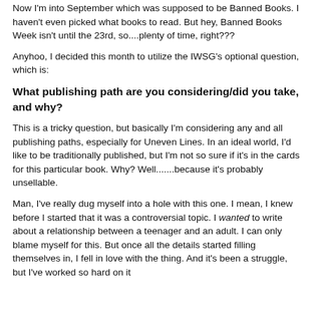Now I'm into September which was supposed to be Banned Books. I haven't even picked what books to read. But hey, Banned Books Week isn't until the 23rd, so....plenty of time, right???
Anyhoo, I decided this month to utilize the IWSG's optional question, which is:
What publishing path are you considering/did you take, and why?
This is a tricky question, but basically I'm considering any and all publishing paths, especially for Uneven Lines. In an ideal world, I'd like to be traditionally published, but I'm not so sure if it's in the cards for this particular book. Why? Well.......because it's probably unsellable.
Man, I've really dug myself into a hole with this one. I mean, I knew before I started that it was a controversial topic. I wanted to write about a relationship between a teenager and an adult. I can only blame myself for this. But once all the details started filling themselves in, I fell in love with the thing. And it's been a struggle, but I've worked so hard on it